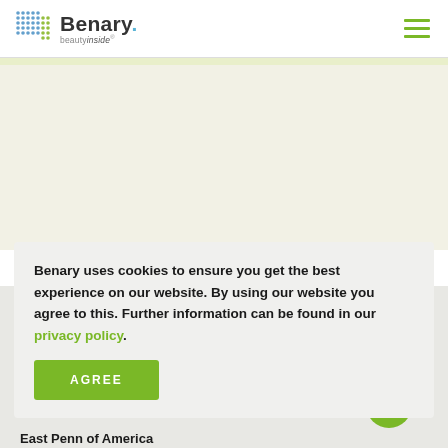Benary. beautyinside
[Figure (screenshot): Benary website screenshot showing cookie consent dialog over page content]
Benary uses cookies to ensure you get the best experience on our website. By using our website you agree to this. Further information can be found in our privacy policy.
AGREE
Watsonville, CA 95076, USA